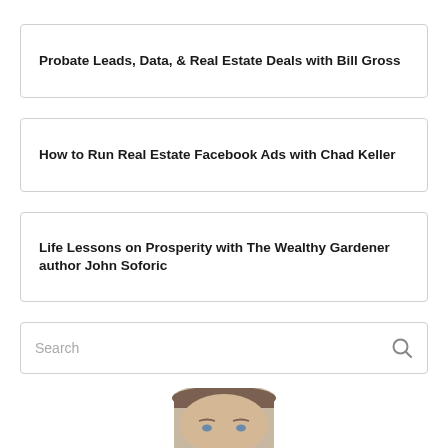Probate Leads, Data, & Real Estate Deals with Bill Gross
How to Run Real Estate Facebook Ads with Chad Keller
Life Lessons on Prosperity with The Wealthy Gardener author John Soforic
Search
[Figure (photo): Headshot of a man with short hair, cropped at the chin, facing the camera against a white background.]